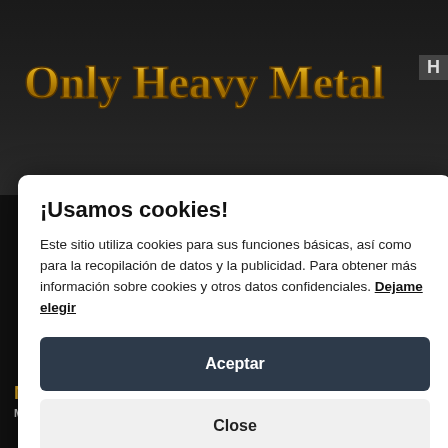[Figure (screenshot): Dark website background with ornate golden 'Only Heavy Metal' logo text and dark navigation area]
¡Usamos cookies!
Este sitio utiliza cookies para sus funciones básicas, así como para la recopilación de datos y la publicidad. Para obtener más información sobre cookies y otros datos confidenciales. Dejame elegir
Aceptar
Close
Novedades de GAMMA RAY
Moderador: Heavy